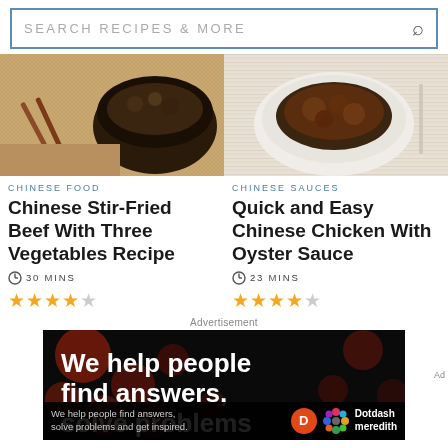[Figure (screenshot): Search bar with text SEARCH RECIPES & MORE and a magnifying glass icon]
[Figure (photo): Chinese stir-fried beef dish in dark bowl with chopsticks on burlap]
CHINESE FOOD
Chinese Stir-Fried Beef With Three Vegetables Recipe
30 MINS
[Figure (other): 3.5 out of 5 stars rating]
[Figure (photo): Chinese chicken with oyster sauce in white dish on striped cloth]
CHINESE SAUCES
Quick and Easy Chinese Chicken With Oyster Sauce
23 MINS
[Figure (other): 4 out of 5 stars rating]
Advertisement
[Figure (infographic): Dark advertisement with bokeh red dots background showing text: We help people find answers, solve problems. Bottom bar: We help people find answers, solve problems and get inspired. Dotdash Meredith logo.]